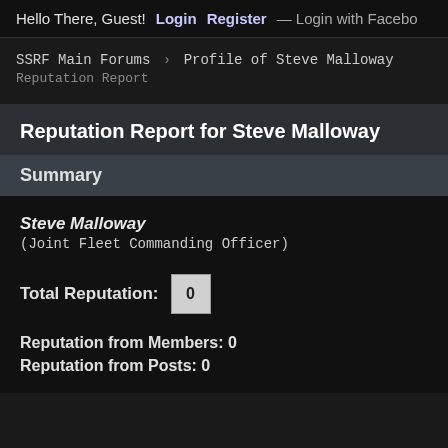Hello There, Guest! Login Register — Login with Facebook
SSRF Main Forums > Profile of Steve Malloway
Reputation Report
Reputation Report for Steve Malloway
Summary
Steve Malloway
(Joint Fleet Commanding Officer)

Total Reputation: 0

Reputation from Members: 0
Reputation from Posts: 0